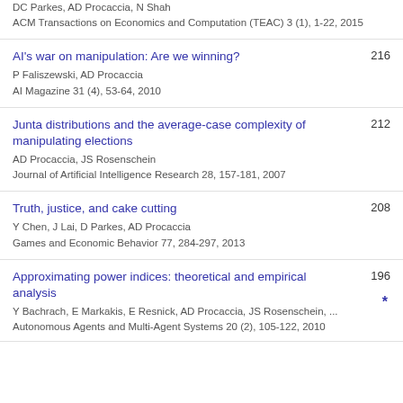DC Parkes, AD Procaccia, N Shah
ACM Transactions on Economics and Computation (TEAC) 3 (1), 1-22, 2015
AI's war on manipulation: Are we winning? | 216
P Faliszewski, AD Procaccia
AI Magazine 31 (4), 53-64, 2010
Junta distributions and the average-case complexity of manipulating elections | 212
AD Procaccia, JS Rosenschein
Journal of Artificial Intelligence Research 28, 157-181, 2007
Truth, justice, and cake cutting | 208
Y Chen, J Lai, D Parkes, AD Procaccia
Games and Economic Behavior 77, 284-297, 2013
Approximating power indices: theoretical and empirical analysis | 196 *
Y Bachrach, E Markakis, E Resnick, AD Procaccia, JS Rosenschein, ...
Autonomous Agents and Multi-Agent Systems 20 (2), 105-122, 2010